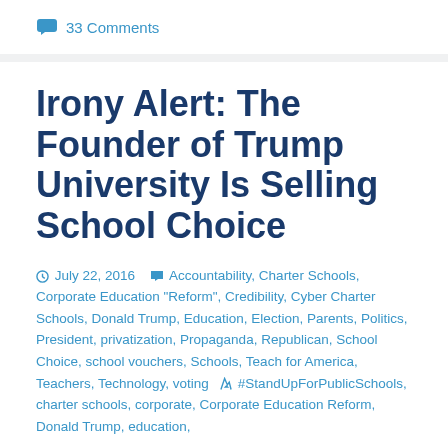33 Comments
Irony Alert: The Founder of Trump University Is Selling School Choice
July 22, 2016   Accountability, Charter Schools, Corporate Education "Reform", Credibility, Cyber Charter Schools, Donald Trump, Education, Election, Parents, Politics, President, privatization, Propaganda, Republican, School Choice, school vouchers, Schools, Teach for America, Teachers, Technology, voting   #StandUpForPublicSchools, charter schools, corporate, Corporate Education Reform, Donald Trump, education,